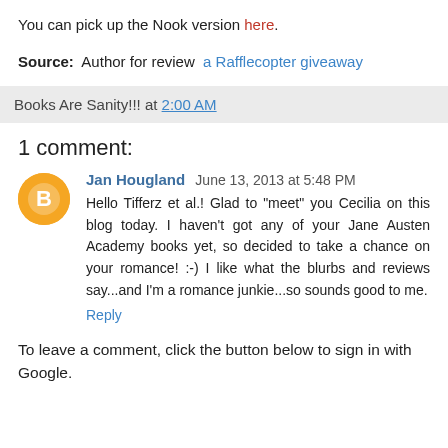You can pick up the Nook version here.
Source:  Author for review  a Rafflecopter giveaway
Books Are Sanity!!! at 2:00 AM
1 comment:
Jan Hougland  June 13, 2013 at 5:48 PM
Hello Tifferz et al.! Glad to "meet" you Cecilia on this blog today. I haven't got any of your Jane Austen Academy books yet, so decided to take a chance on your romance! :-) I like what the blurbs and reviews say...and I'm a romance junkie...so sounds good to me.
Reply
To leave a comment, click the button below to sign in with Google.